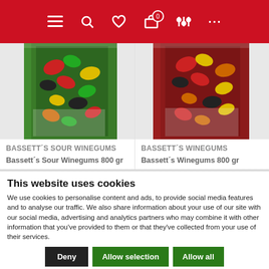[Figure (screenshot): Red navigation bar with hamburger menu, search, heart/wishlist, shopping cart with badge 0, filter/equalizer, and more-options icons in white]
[Figure (photo): Bassett's Sour Winegums 800gr product box showing colorful sour candy pieces]
[Figure (photo): Bassett's Winegums 800gr product box showing colorful candy pieces]
BASSETT´S SOUR WINEGUMS
BASSETT´S WINEGUMS
Bassett´s Sour Winegums 800 gr
Bassett´s Winegums 800 gr
This website uses cookies
We use cookies to personalise content and ads, to provide social media features and to analyse our traffic. We also share information about your use of our site with our social media, advertising and analytics partners who may combine it with other information that you've provided to them or that they've collected from your use of their services.
Deny | Allow selection | Allow all
Necessary  Preferences  Statistics  Marketing  Show details